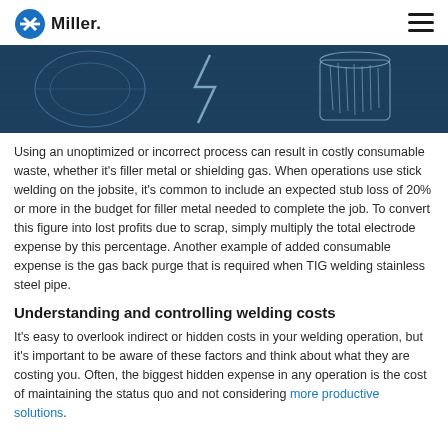Miller
[Figure (illustration): Dark blue background with technical/welding illustration showing pipe sections and weld-related imagery in light blue/gray tones]
Using an unoptimized or incorrect process can result in costly consumable waste, whether it's filler metal or shielding gas. When operations use stick welding on the jobsite, it's common to include an expected stub loss of 20% or more in the budget for filler metal needed to complete the job. To convert this figure into lost profits due to scrap, simply multiply the total electrode expense by this percentage. Another example of added consumable expense is the gas back purge that is required when TIG welding stainless steel pipe.
Understanding and controlling welding costs
It's easy to overlook indirect or hidden costs in your welding operation, but it's important to be aware of these factors and think about what they are costing you. Often, the biggest hidden expense in any operation is the cost of maintaining the status quo and not considering more productive solutions.